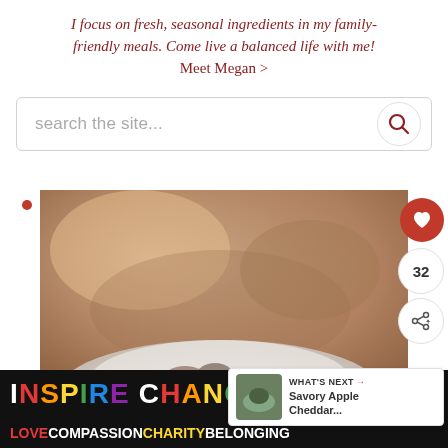I focus on fresh, seasonal ingredients in my family-friendly meals. Come live a balanced life with me! Meet Megan >
[Figure (screenshot): Search bar with placeholder text 'search the site...' and a search icon button on the right]
[Figure (photo): Blurred food photo showing a bowl with ingredients, with heart favorite button showing '32' count and share button overlay. 'What's Next' card shows 'Savory Apple Cheddar...' recipe. Small red dot bullet on left.]
[Figure (illustration): Ad banner with 'INSPIRE CHANGE' in rainbow colored letters on black background with close button. Bottom row: LOVE COMPASSION CHARITY BELONGING text.]